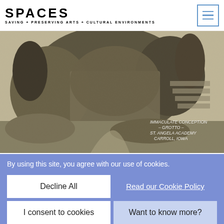SPACES — SAVING + PRESERVING ARTS + CULTURAL ENVIRONMENTS
[Figure (photo): Black and white vintage photograph of the Immaculate Conception Grotto at St. Angela Academy, Carroll, Iowa. Shows a large stone grotto structure covered in vines and foliage with statues.]
By using this site, you agree with our use of cookies.
Decline All
Read our Cookie Policy
I consent to cookies
Want to know more?